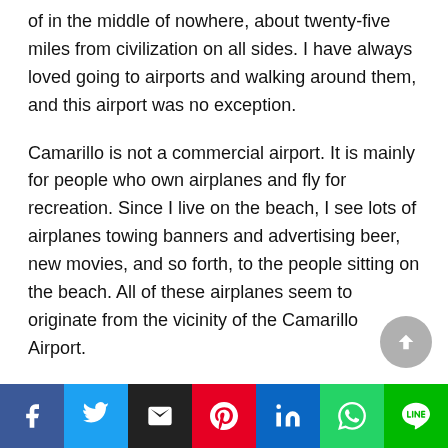of in the middle of nowhere, about twenty-five miles from civilization on all sides. I have always loved going to airports and walking around them, and this airport was no exception.
Camarillo is not a commercial airport. It is mainly for people who own airplanes and fly for recreation. Since I live on the beach, I see lots of airplanes towing banners and advertising beer, new movies, and so forth, to the people sitting on the beach. All of these airplanes seem to originate from the vicinity of the Camarillo Airport.
The flight school at Camarillo is right next to an “executive” airport hangar. So, I decided to go inside the hangar and look around. There was a woman in an office next door and she gave me a tour of the hangar. I spoke with the woman